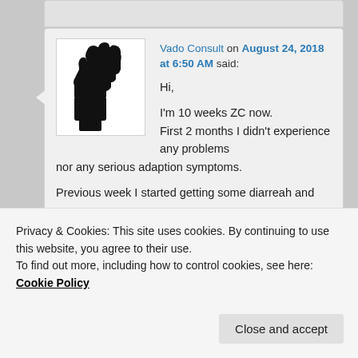[Figure (illustration): Black raised fist icon on white background]
Vado Consult on August 24, 2018 at 6:50 AM said:
Hi,

I'm 10 weeks ZC now.
First 2 months I didn't experience any problems nor any serious adaption symptoms.

Previous week I started getting some diarreah and
Privacy & Cookies: This site uses cookies. By continuing to use this website, you agree to their use.
To find out more, including how to control cookies, see here: Cookie Policy
Close and accept
yesterday I feel really tired again and the diarreah